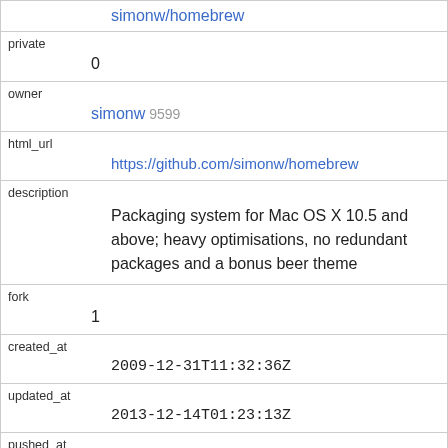| simonw/homebrew |  |
| private | 0 |
| owner | simonw 9599 |
| html_url | https://github.com/simonw/homebrew |
| description | Packaging system for Mac OS X 10.5 and above; heavy optimisations, no redundant packages and a bonus beer theme |
| fork | 1 |
| created_at | 2009-12-31T11:32:36Z |
| updated_at | 2013-12-14T01:23:13Z |
| pushed_at | 2009-12-31T11:34:45Z |
| homepage |  |